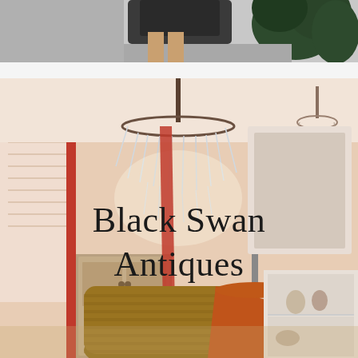[Figure (photo): Partial view of an antique shop interior seen from above, showing a person and dark green plant leaves against a light background.]
[Figure (photo): Interior of Black Swan Antiques shop showing a crystal chandelier hanging from the ceiling, wooden furniture, a wicker basket, orange lamp shade, red fabric, mirrors, and various antique items. Text overlay reads 'Black Swan Antiques'.]